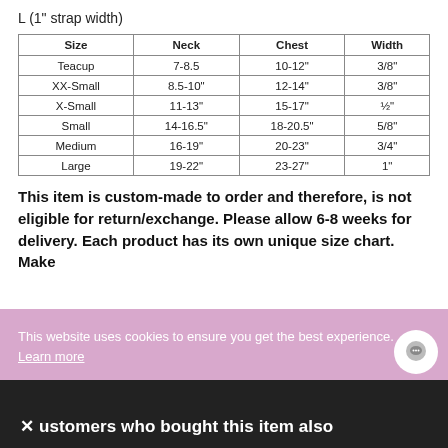L (1" strap width)
| Size | Neck | Chest | Width |
| --- | --- | --- | --- |
| Teacup | 7-8.5 | 10-12" | 3/8" |
| XX-Small | 8.5-10" | 12-14" | 3/8" |
| X-Small | 11-13" | 15-17" | ½" |
| Small | 14-16.5" | 18-20.5" | 5/8" |
| Medium | 16-19" | 20-23" | 3/4" |
| Large | 19-22" | 23-27" | 1" |
This item is custom-made to order and therefore, is not eligible for return/exchange. Please allow 6-8 weeks for delivery. Each product has its own unique size chart. Make
This website uses cookies to ensure you get the best experience. Learn more
Ok
customers who bought this item also